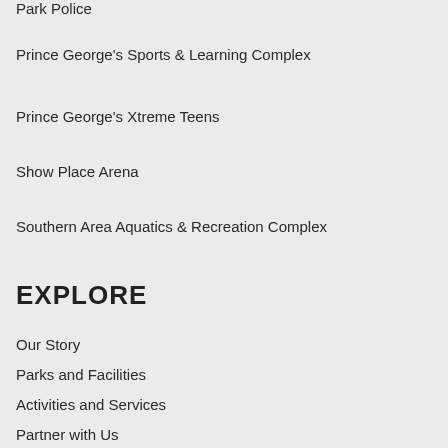Park Police
Prince George's Sports & Learning Complex
Prince George's Xtreme Teens
Show Place Arena
Southern Area Aquatics & Recreation Complex
EXPLORE
Our Story
Parks and Facilities
Activities and Services
Partner with Us
Get Informed
How Do I...